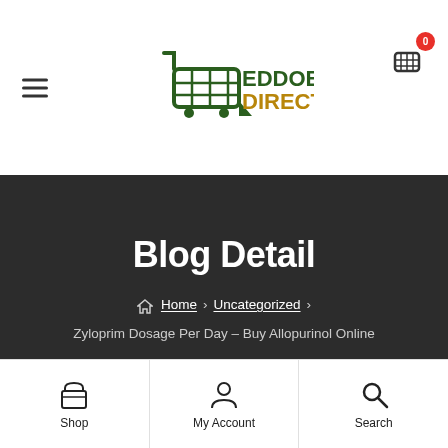[Figure (logo): Eddoes Direct shopping cart logo with green and gold text]
Blog Detail
Home › Uncategorized › Zyloprim Dosage Per Day – Buy Allopurinol Online
Uncategorized · October 11, 2021 · by chetan p
[Figure (infographic): Bottom navigation bar with Shop, My Account, and Search icons]